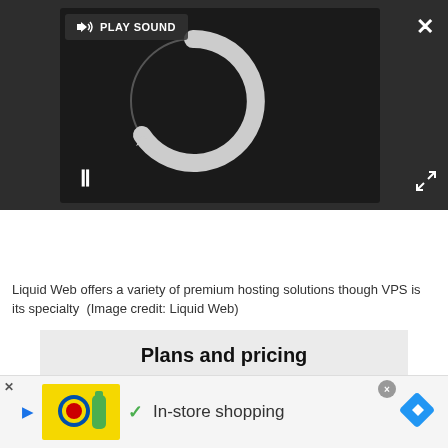[Figure (screenshot): Video player with dark background showing a spinning loading circle graphic, a PLAY SOUND button at top, pause icon at bottom left, and expand/close icons]
[Figure (screenshot): Pricing bar with four columns each showing 24 Mo / 12 Mo / Monthly labels and an orange Order Now button]
Liquid Web offers a variety of premium hosting solutions though VPS is its specialty  (Image credit: Liquid Web)
Plans and pricing
Given that Liquid Web is specialized in providing powerful managed hosting solutions aimed at
[Figure (screenshot): Advertisement banner showing Lidl logo, a bottle icon, checkmark, In-store shopping text, and a blue navigation arrow diamond icon]